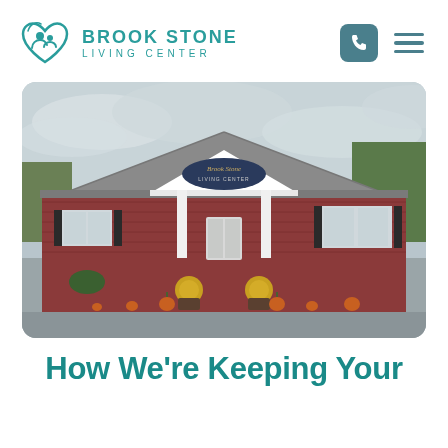Brook Stone Living Center
[Figure (photo): Exterior photo of Brook Stone Living Center building — a single-story red brick building with a white peaked portico entrance, columns, a sign reading 'Brook Stone Living Center', yellow mums and pumpkins decorating the entrance, overcast sky with trees in background]
How We're Keeping Your